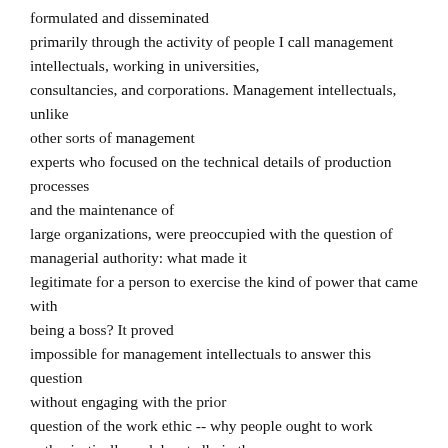formulated and disseminated primarily through the activity of people I call management intellectuals, working in universities, consultancies, and corporations. Management intellectuals, unlike other sorts of management experts who focused on the technical details of production processes and the maintenance of large organizations, were preoccupied with the question of managerial authority: what made it legitimate for a person to exercise the kind of power that came with being a boss? It proved impossible for management intellectuals to answer this question without engaging with the prior question of the work ethic -- why people ought to work enthusiastically and devotedly in the first place. Frederick Winslow Taylor and his colleagues promised workers that “scientific” management methods would allow them to reap the rewards of greater productivity as middleclass consumers. But Taylorism met with opposition from a rival school of contemporary management intellectuals, including economists such as Frank Knight and the psychologists who led the “personnel management” movement. They argued that